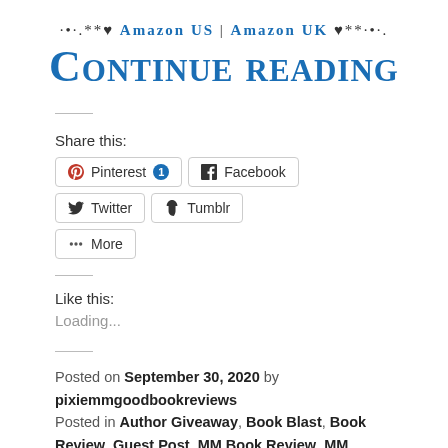·•·.**♥ Amazon US | Amazon UK ♥**·•·.
Continue reading
Share this:
Pinterest 1 | Facebook | Twitter | Tumblr | More
Like this:
Loading...
Posted on September 30, 2020 by pixiemmgoodbookreviews Posted in Author Giveaway, Book Blast, Book Review, Guest Post, MM Book Review, MM Romance Book Review, Reviews